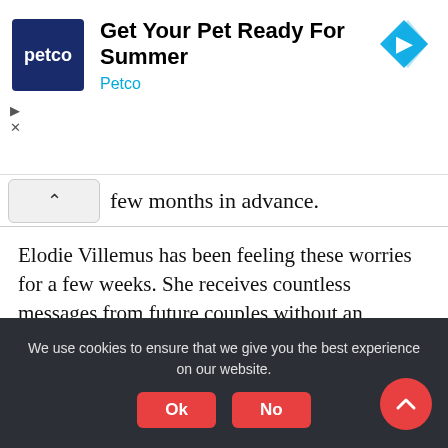[Figure (other): Petco advertisement banner with logo, headline 'Get Your Pet Ready For Summer', subtext 'Petco', and a blue direction arrow icon on the right. Play and close controls below.]
few months in advance.
Elodie Villemus has been feeling these worries for a few weeks. She receives countless messages from future couples without an organiser who find themselves managing all the postponements.
“Without a wedding planner, they are a bit lost. They have realised that this job is essential. They have to find solutions on their own – it’s sometimes
We use cookies to ensure that we give you the best experience on our website.